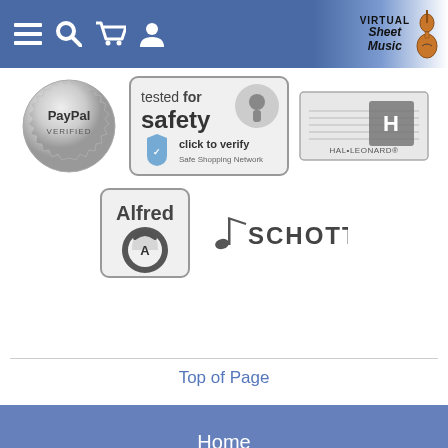Virtual Sheet Music - navigation header with menu, search, cart, account icons and logo
[Figure (logo): PayPal Verified seal - circular silver badge]
[Figure (logo): Tested for safety - click to verify - Safe Shopping Network badge]
[Figure (logo): Hal Leonard publisher logo]
[Figure (logo): Alfred Music publisher logo]
[Figure (logo): Schott Music publisher logo]
Top of Page
Home
Music Score Catalog
Help
About Us